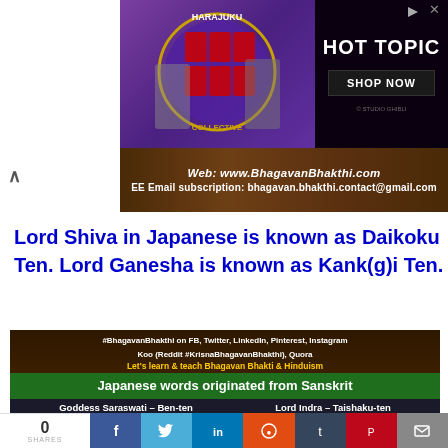[Figure (illustration): Harajuku Collective advertisement banner with HOT TOPIC shop now button, showing two anime-style characters in Japanese streetwear on purple background]
[Figure (infographic): Brown band with website URL: Web: www.BhagavanBhakthi.com and FREE Email subscription: bhagavan.bhakthi.contact@gmail.com]
Lord Shiva in Japanese is known as Daikoku Ten. Lord Ganesha is known as Kank(g)i Ten.
[Figure (infographic): Japanese words originated from Sanskrit infographic showing Goddess Saraswati - Ben-ten and Lord Indra - Taishaku-ten with deity images on dark brown background with social media handles]
0 SHARES | Facebook | Twitter | LinkedIn | Reddit | Tumblr | Pinterest | Email